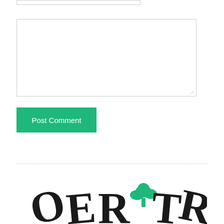[Figure (screenshot): A narrow text input bar with a light grey border at the top of the page]
[Figure (screenshot): A large empty textarea input box with a light grey border and resize handle in the bottom-right corner]
Post Comment
[Figure (logo): Partial logo showing decorative serif letters 'OER' and 'TRA' with a green cloud/tree icon in the center, arranged in an arc]